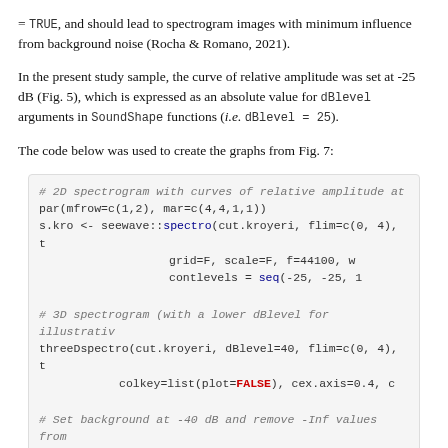= TRUE, and should lead to spectrogram images with minimum influence from background noise (Rocha & Romano, 2021).
In the present study sample, the curve of relative amplitude was set at -25 dB (Fig. 5), which is expressed as an absolute value for dBlevel arguments in SoundShape functions (i.e. dBlevel = 25).
The code below was used to create the graphs from Fig. 7:
[Figure (screenshot): Code block showing R code for 2D spectrogram with curves of relative amplitude, 3D spectrogram, setting background at -40 dB, and adding curve of relative amplitude.]